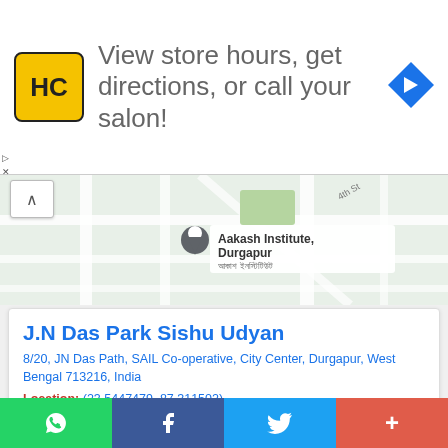[Figure (infographic): Ad banner: HC logo (yellow square with HC text), text 'View store hours, get directions, or call your salon!', blue diamond navigation arrow icon]
[Figure (map): Google Maps snippet showing Aakash Institute, Durgapur location with a pin marker and Bengali text label]
J.N Das Park Sishu Udyan
8/20, JN Das Path, SAIL Co-operative, City Center, Durgapur, West Bengal 713216, India
Location: (23.5447479, 87.311502)
Rating: 4.1/5 ★★★★☆ (197) Votes
CONTACT DETAILS
[Figure (infographic): Bottom sharing bar with WhatsApp, Facebook, Twitter, and more (+) buttons]